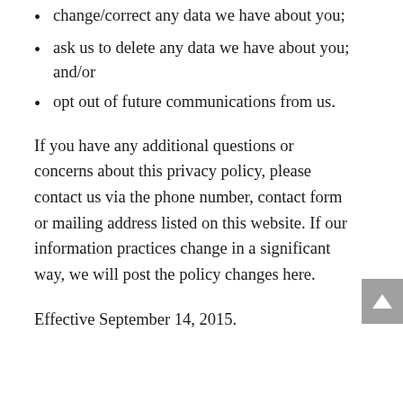change/correct any data we have about you;
ask us to delete any data we have about you; and/or
opt out of future communications from us.
If you have any additional questions or concerns about this privacy policy, please contact us via the phone number, contact form or mailing address listed on this website. If our information practices change in a significant way, we will post the policy changes here.
Effective September 14, 2015.